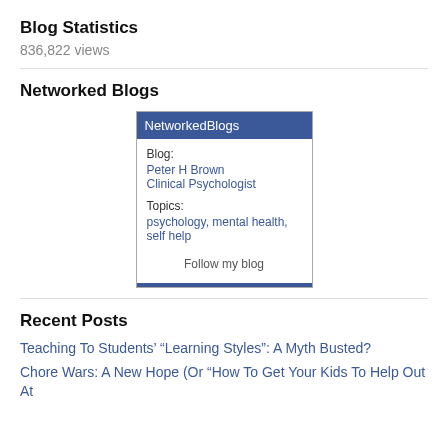Blog Statistics
836,822 views
Networked Blogs
[Figure (other): NetworkedBlogs widget showing blog: Peter H Brown Clinical Psychologist, Topics: psychology, mental health, self help, with a Follow my blog link]
Recent Posts
Teaching To Students' “Learning Styles”: A Myth Busted?
Chore Wars: A New Hope (Or "How To Get Your Kids To Help Out At